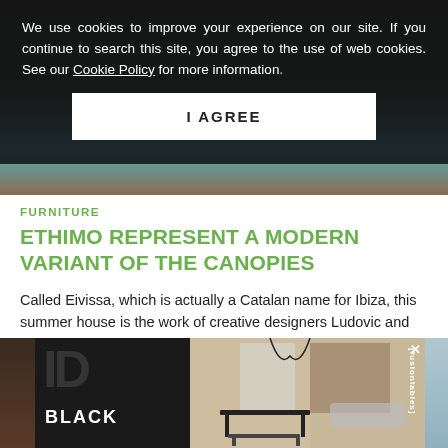[Figure (screenshot): Hero image of a modern house/pool area, partially obscured by dark overlay]
We use cookies to improve your experience on our site. If you continue to search this site, you agree to the use of web cookies. See our Cookie Policy for more information.
I AGREE
FURNITURE
ETHIMO REPRESENT A MODERN VARIANT OF THE CANOPIES
Called Eivissa, which is actually a Catalan name for Ibiza, this summer house is the work of creative designers Ludovic and Robert
[Figure (photo): Advertisement banner for fusiontables BLACK collection showing modern furniture in an interior setting]